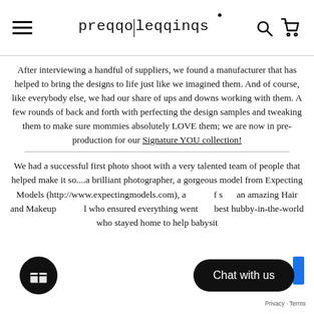preqqo leqqings
After interviewing a handful of suppliers, we found a manufacturer that has helped to bring the designs to life just like we imagined them. And of course, like everybody else, we had our share of ups and downs working with them. A few rounds of back and forth with perfecting the design samples and tweaking them to make sure mommies absolutely LOVE them; we are now in pre-production for our Signature YOU collection!
We had a successful first photo shoot with a very talented team of people that helped make it so....a brilliant photographer, a gorgeous model from Expecting Models (http://www.expectingmodels.com), a... ...s... an amazing Hair and Makeup... who ensured everything went... best hubby-in-the-world who stayed home to help babysit